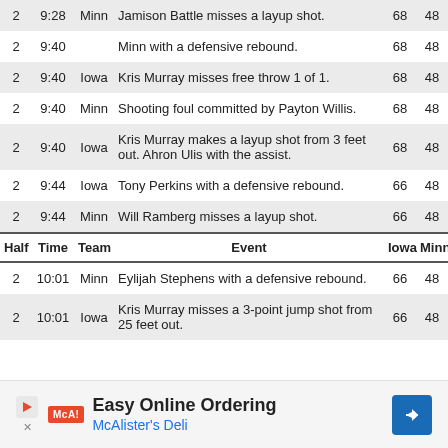| Half | Time | Team | Event | Iowa | Minn |
| --- | --- | --- | --- | --- | --- |
| 2 | 9:28 | Minn | Jamison Battle misses a layup shot. | 68 | 48 |
| 2 | 9:40 |  | Minn with a defensive rebound. | 68 | 48 |
| 2 | 9:40 | Iowa | Kris Murray misses free throw 1 of 1. | 68 | 48 |
| 2 | 9:40 | Minn | Shooting foul committed by Payton Willis. | 68 | 48 |
| 2 | 9:40 | Iowa | Kris Murray makes a layup shot from 3 feet out. Ahron Ulis with the assist. | 68 | 48 |
| 2 | 9:44 | Iowa | Tony Perkins with a defensive rebound. | 66 | 48 |
| 2 | 9:44 | Minn | Will Ramberg misses a layup shot. | 66 | 48 |
| 2 | 10:01 | Minn | Eylijah Stephens with a defensive rebound. | 66 | 48 |
| 2 | 10:01 | Iowa | Kris Murray misses a 3-point jump shot from 25 feet out. | 66 | 48 |